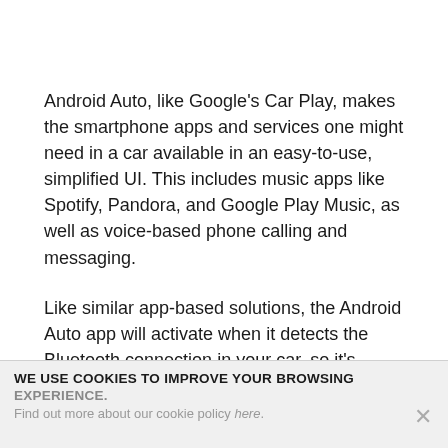Android Auto, like Google's Car Play, makes the smartphone apps and services one might need in a car available in an easy-to-use, simplified UI. This includes music apps like Spotify, Pandora, and Google Play Music, as well as voice-based phone calling and messaging.
Like similar app-based solutions, the Android Auto app will activate when it detects the Bluetooth connection in your car, so it's automatic.
WE USE COOKIES TO IMPROVE YOUR BROWSING EXPERIENCE. Find out more about our cookie policy here.